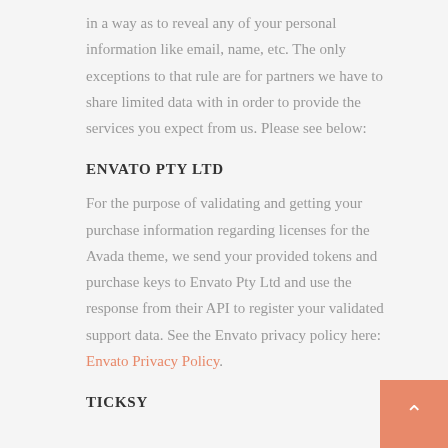in a way as to reveal any of your personal information like email, name, etc. The only exceptions to that rule are for partners we have to share limited data with in order to provide the services you expect from us. Please see below:
ENVATO PTY LTD
For the purpose of validating and getting your purchase information regarding licenses for the Avada theme, we send your provided tokens and purchase keys to Envato Pty Ltd and use the response from their API to register your validated support data. See the Envato privacy policy here: Envato Privacy Policy.
TICKSY